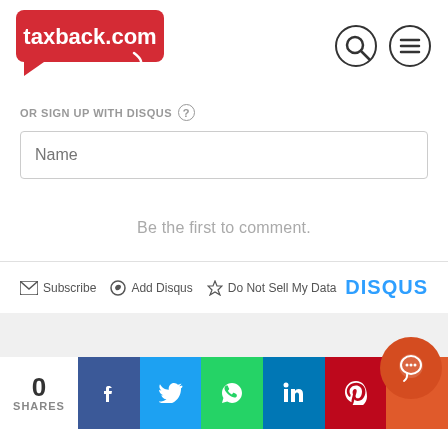[Figure (logo): taxback.com red speech bubble logo]
[Figure (other): Search icon (magnifying glass) and menu icon (three lines) in circles]
OR SIGN UP WITH DISQUS ?
Name
Be the first to comment.
Subscribe  Add Disqus  Do Not Sell My Data  DISQUS
0 SHARES
[Figure (other): Social share bar with Facebook, Twitter, WhatsApp, LinkedIn, Pinterest, and more buttons]